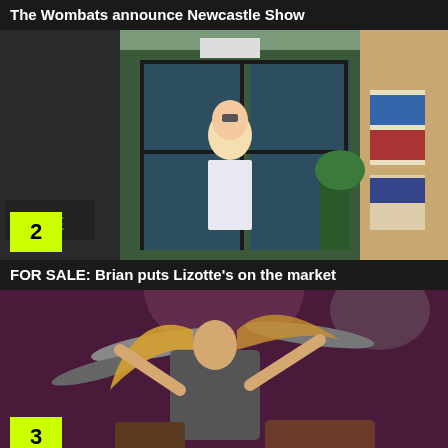The Wombats announce Newcastle Show
[Figure (photo): Man in light blue patterned shirt standing in front of a venue entrance with glass doors. Number badge '2' in yellow-green at bottom left.]
FOR SALE: Brian puts Lizotte's on the market
[Figure (photo): Drummer with long blond hair playing drums on a purple-tinted stage. Number badge '3' in yellow-green at bottom left.]